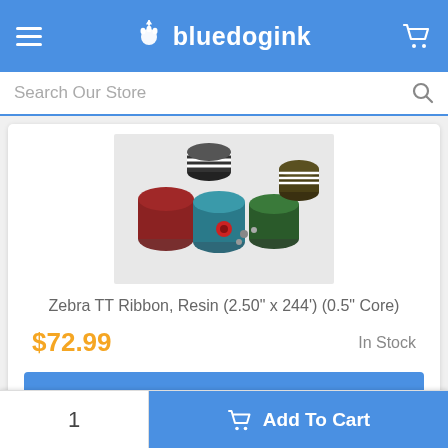bluedogink
Search Our Store
[Figure (photo): Multiple thermal transfer ribbon rolls of various colors including black, red, dark green, and white/black patterned, arranged in a group on a white background.]
Zebra TT Ribbon, Resin (2.50" x 244") (0.5" Core)
$72.99
In Stock
Add To Cart
1
Add To Cart